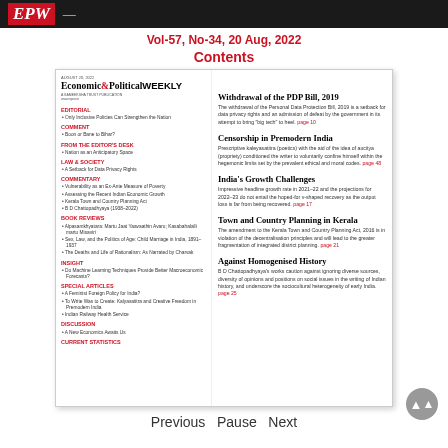EPW
Vol-57, No-34, 20 Aug, 2022
Contents
[Figure (other): Magazine cover of Economic & Political Weekly showing table of contents with left column listing sections: Editorial, Comment, From the Editor's Desk, Law & Society, Commentary, Book Reviews, Insight, Special Articles, Discussion, Current Statistics; and right column featuring: Withdrawal of the PDP Bill 2019, Censorship in Premodern India, India's Growth Challenges, Town and Country Planning in Kerala, Against Homogenised History]
Previous Pause Next